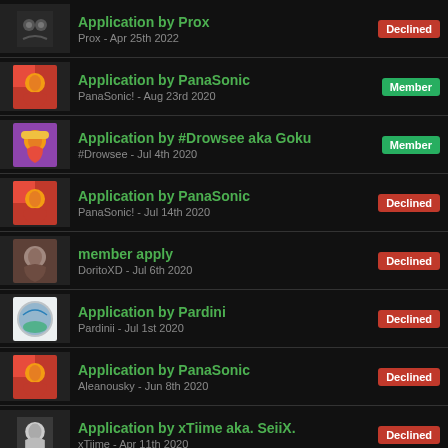Application by Prox | Prox - Apr 25th 2022 | Declined
Application by PanaSonic | PanaSonic! - Aug 23rd 2020 | Member
Application by #Drowsee aka Goku | #Drowsee - Jul 4th 2020 | Member
Application by PanaSonic | PanaSonic! - Jul 14th 2020 | Declined
member apply | DoritoXD - Jul 6th 2020 | Declined
Application by Pardini | Pardinii - Jul 1st 2020 | Declined
Application by PanaSonic | Aleanousky - Jun 8th 2020 | Declined
Application by xTiime aka. SeiiX. | xTiime - Apr 11th 2020 | Declined
Application by K3kZ | Member